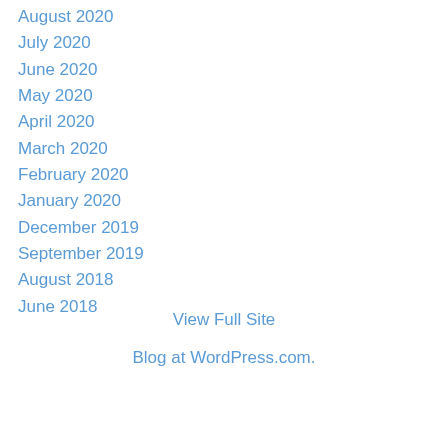August 2020
July 2020
June 2020
May 2020
April 2020
March 2020
February 2020
January 2020
December 2019
September 2019
August 2018
June 2018
View Full Site
Blog at WordPress.com.